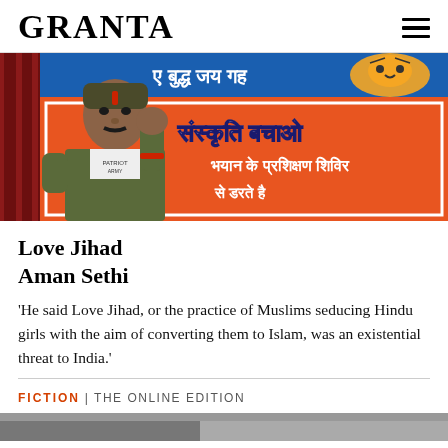GRANTA
[Figure (photo): A man in military-style clothing standing in front of an orange and blue banner with Hindi text reading 'संस्कृति बचाओ' and other text, with a tiger graphic visible on the banner.]
Love Jihad
Aman Sethi
‘He said Love Jihad, or the practice of Muslims seducing Hindu girls with the aim of converting them to Islam, was an existential threat to India.’
FICTION | THE ONLINE EDITION
[Figure (photo): Bottom of page shows the top edge of another photo.]